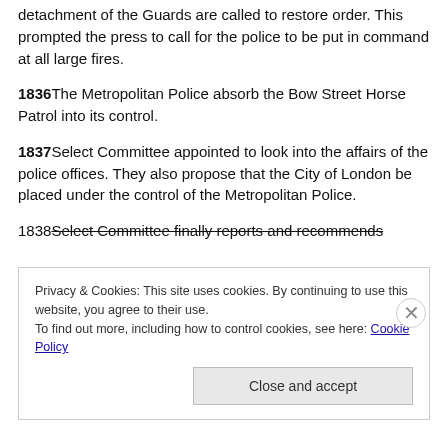detachment of the Guards are called to restore order. This prompted the press to call for the police to be put in command at all large fires.
1836 The Metropolitan Police absorb the Bow Street Horse Patrol into its control.
1837 Select Committee appointed to look into the affairs of the police offices. They also propose that the City of London be placed under the control of the Metropolitan Police.
1838 Select Committee finally reports and recommends...